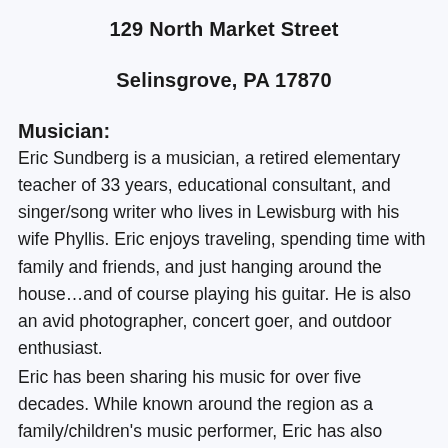129 North Market Street
Selinsgrove, PA 17870
Musician:
Eric Sundberg is a musician, a retired elementary teacher of 33 years, educational consultant, and singer/song writer who lives in Lewisburg with his wife Phyllis.  Eric enjoys traveling, spending time with family and friends, and just hanging around the house…and of course playing his guitar.  He is also an avid photographer, concert goer, and outdoor enthusiast.
Eric has been sharing his music for over five decades.  While known around the region as a family/children's music performer, Eric has also